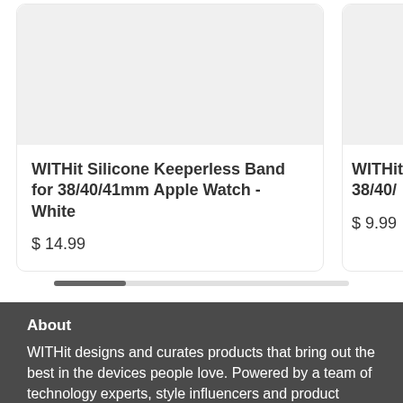WITHit Silicone Keeperless Band for 38/40/41mm Apple Watch - White
$ 14.99
WITHit 38/40/
$ 9.99
About
WITHit designs and curates products that bring out the best in the devices people love. Powered by a team of technology experts, style influencers and product